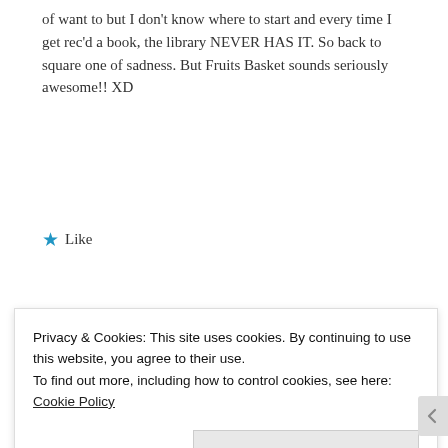of want to but I don't know where to start and every time I get rec'd a book, the library NEVER HAS IT. So back to square one of sadness. But Fruits Basket sounds seriously awesome!! XD
★ Like
Reply
Danni Mae says:
Privacy & Cookies: This site uses cookies. By continuing to use this website, you agree to their use.
To find out more, including how to control cookies, see here: Cookie Policy
Close and accept